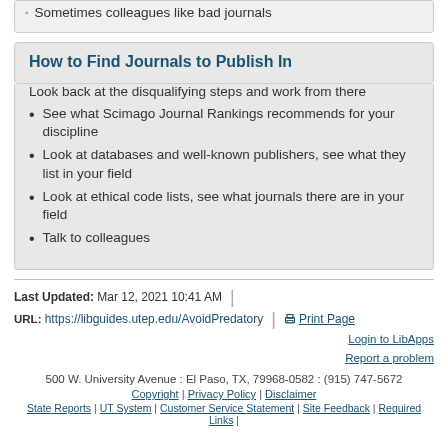Sometimes colleagues like bad journals
How to Find Journals to Publish In
Look back at the disqualifying steps and work from there
See what Scimago Journal Rankings recommends for your discipline
Look at databases and well-known publishers, see what they list in your field
Look at ethical code lists, see what journals there are in your field
Talk to colleagues
Last Updated: Mar 12, 2021 10:41 AM | URL: https://libguides.utep.edu/AvoidPredatory | Print Page | Login to LibApps | Report a problem | 500 W. University Avenue : El Paso, TX, 79968-0582 : (915) 747-5672 | Copyright | Privacy Policy | Disclaimer | State Reports | UT System | Customer Service Statement | Site Feedback | Required Links |